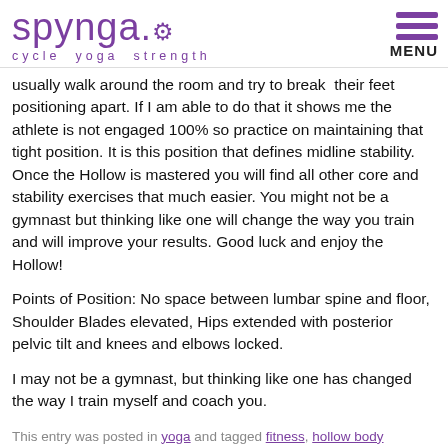spynga. cycle yoga strength
usually walk around the room and try to break their feet positioning apart. If I am able to do that it shows me the athlete is not engaged 100% so practice on maintaining that tight position. It is this position that defines midline stability. Once the Hollow is mastered you will find all other core and stability exercises that much easier. You might not be a gymnast but thinking like one will change the way you train and will improve your results. Good luck and enjoy the Hollow!
Points of Position: No space between lumbar spine and floor, Shoulder Blades elevated, Hips extended with posterior pelvic tilt and knees and elbows locked.
I may not be a gymnast, but thinking like one has changed the way I train myself and coach you.
This entry was posted in yoga and tagged fitness, hollow body position, motivation, yoga. Bookmark the permalink.